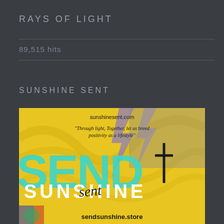RAYS OF LIGHT
89,515 hits
SUNSHINE SENT
[Figure (illustration): Sunshine Sent brand advertisement image with yellow background, teal and cyan large text reading SEND overlaid with SUNSHINE, script text reading 'Through light, Together, let us breed positivity as a lifestyle', sunshinesent.com at top and sendsunshine.store at bottom]